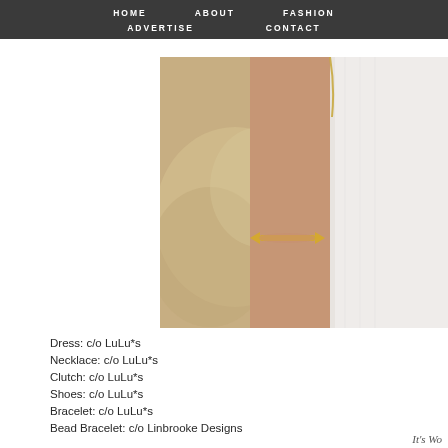HOME   ABOUT   FASHION   ADVERTISE   CONTACT
[Figure (photo): Close-up photo of a woman's arm wearing a gold arrow bracelet, dressed in a white dress, with a blurred outdoor background]
Dress: c/o LuLu*s
Necklace: c/o LuLu*s
Clutch: c/o LuLu*s
Shoes: c/o LuLu*s
Bracelet: c/o LuLu*s
Bead Bracelet: c/o Linbrooke Designs
It's Wo